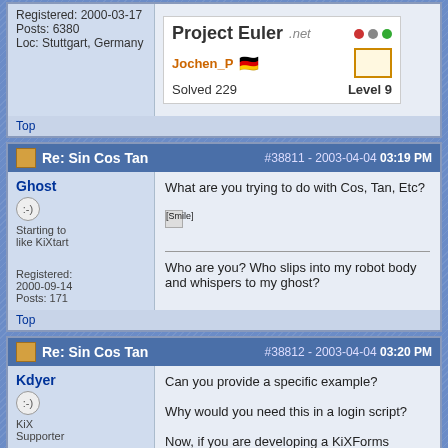Registered: 2000-03-17
Posts: 6380
Loc: Stuttgart, Germany
[Figure (screenshot): Project Euler badge showing Jochen_P, German flag, Solved 229, Level 9]
Top
Re: Sin Cos Tan #38811 - 2003-04-04 03:19 PM
Ghost
Starting to like KiXtart
Registered: 2000-09-14
Posts: 171
What are you trying to do with Cos, Tan, Etc?
[Smile]
Who are you? Who slips into my robot body and whispers to my ghost?
Top
Re: Sin Cos Tan #38812 - 2003-04-04 03:20 PM
Kdyer
KiX Supporter
Can you provide a specific example?
Why would you need this in a login script?
Now, if you are developing a KiXForms calculator, that would be a different story.
[Smile]